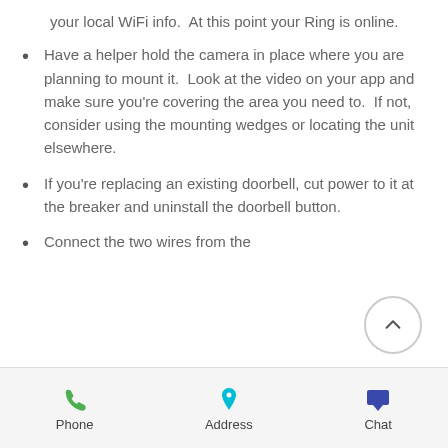your local WiFi info.  At this point your Ring is online.
Have a helper hold the camera in place where you are planning to mount it.  Look at the video on your app and make sure you're covering the area you need to.  If not, consider using the mounting wedges or locating the unit elsewhere.
If you're replacing an existing doorbell, cut power to it at the breaker and uninstall the doorbell button.
Connect the two wires from the
Phone  Address  Chat